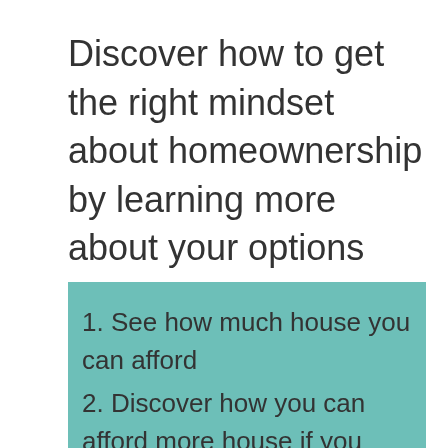Discover how to get the right mindset about homeownership by learning more about your options and finding your path:
1. See how much house you can afford
2. Discover how you can afford more house if you change some of your